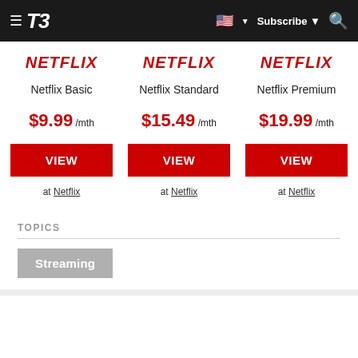T3 — Subscribe
Netflix Basic
$9.99 /mth
VIEW
at Netflix
Netflix Standard
$15.49 /mth
VIEW
at Netflix
Netflix Premium
$19.99 /mth
VIEW
at Netflix
TOPICS
Streaming